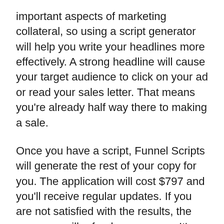important aspects of marketing collateral, so using a script generator will help you write your headlines more effectively. A strong headline will cause your target audience to click on your ad or read your sales letter. That means you're already half way there to making a sale.
Once you have a script, Funnel Scripts will generate the rest of your copy for you. The application will cost $797 and you'll receive regular updates. If you are not satisfied with the results, the company will refund your money. It's very affordable so it's definitely worth giving it a shot. Make sure you are aware of the money-back guarantee.